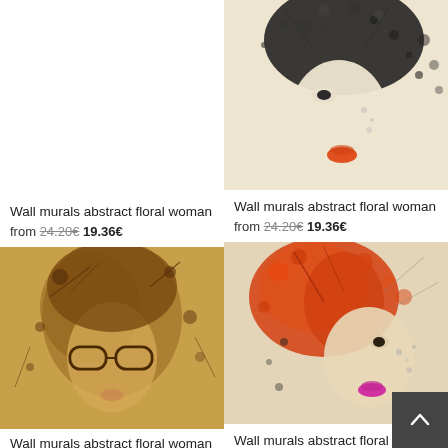[Figure (illustration): Abstract floral woman illustration in black and white/beige, cropped at top, showing face with red lips and floral/leaf pattern hair]
Wall murals abstract floral woman
from 24.20€ 19.36€
[Figure (illustration): Abstract floral woman illustration in golden/brown tones, woman wearing glasses with floral/leaf pattern hair]
Wall murals abstract floral woman
from 24.20€ 19.36€
[Figure (illustration): Abstract floral woman illustration in orange and black, woman with pink lips and orange leaf/floral pattern hair]
Wall murals abstract floral woman
from 24.20€ 19.36€